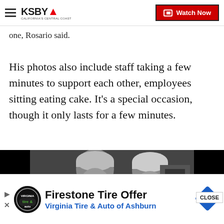KSBY - California's Central Coast | Watch Now
one, Rosario said.
His photos also include staff taking a few minutes to support each other, employees sitting eating cake. It's a special occasion, though it only lasts for a few minutes.
[Figure (photo): Black and white photo of two healthcare workers in scrubs, surgical caps, and face masks standing side by side indoors]
CLOSE
[Figure (infographic): Advertisement banner: Firestone Tire Offer - Virginia Tire & Auto of Ashburn]